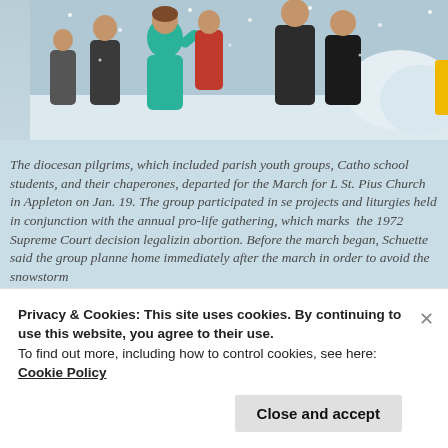[Figure (photo): Photo of people outdoors in winter/snowy conditions, one person wearing a bright teal/green jacket, others in dark winter clothing, snow visible in background with what appears to be a snow sculpture.]
The diocesan pilgrims, which included parish youth groups, Catho school students, and their chaperones, departed for the March for L St. Pius Church in Appleton on Jan. 19. The group participated in se projects and liturgies held in conjunction with the annual pro-life gathering, which marks the 1972 Supreme Court decision legalizin abortion. Before the march began, Schuette said the group planne home immediately after the march in order to avoid the snowstorm
Privacy & Cookies: This site uses cookies. By continuing to use this website, you agree to their use.
To find out more, including how to control cookies, see here: Cookie Policy